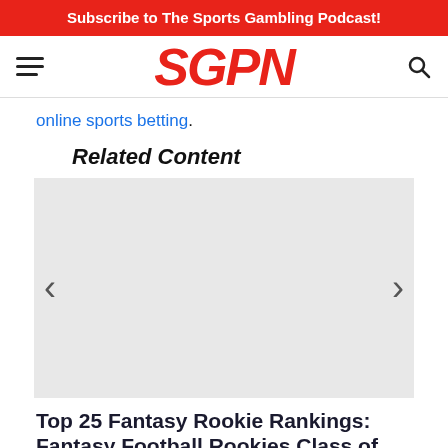Subscribe to The Sports Gambling Podcast!
[Figure (logo): SGPN logo in red bold italic text]
online sports betting.
Related Content
[Figure (photo): Carousel image placeholder (light gray background) with left and right navigation arrows]
Top 25 Fantasy Rookie Rankings: Fantasy Football Rookies Class of